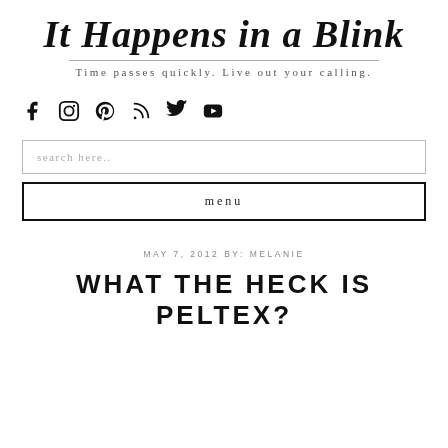It Happens in a Blink
Time passes quickly. Live out your calling.
[Figure (infographic): Social media icons: Facebook, Instagram, Pinterest, RSS, Twitter, YouTube]
search here..
menu
MAY 7, 2012 BY: MELANIE
WHAT THE HECK IS PELTEX?